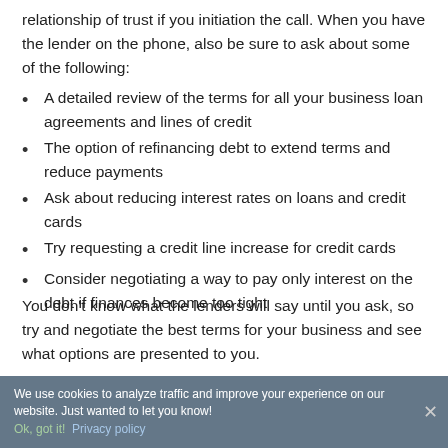relationship of trust if you initiation the call. When you have the lender on the phone, also be sure to ask about some of the following:
A detailed review of the terms for all your business loan agreements and lines of credit
The option of refinancing debt to extend terms and reduce payments
Ask about reducing interest rates on loans and credit cards
Try requesting a credit line increase for credit cards
Consider negotiating a way to pay only interest on the debt if finances become too tight
You don't know what the lenders will say until you ask, so try and negotiate the best terms for your business and see what options are presented to you.
We use cookies to analyze traffic and improve your experience on our website. Just wanted to let you know! Ok, got it! Privacy policy